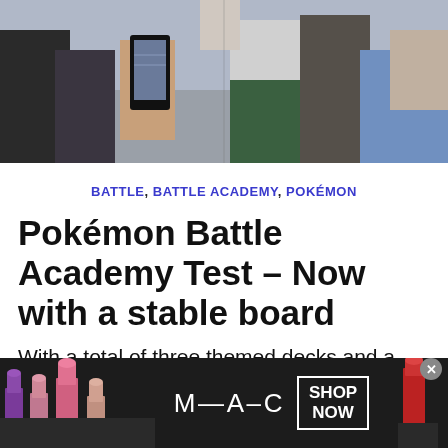[Figure (photo): Person holding a smartphone taking a photo in a crowd outdoors]
BATTLE, BATTLE ACADEMY, POKÉMON
Pokémon Battle Academy Test – Now with a stable board
With a total of three themed decks and a sturdy game board, an ideal package for
[Figure (photo): MAC Cosmetics advertisement showing lipsticks with SHOP NOW call to action]